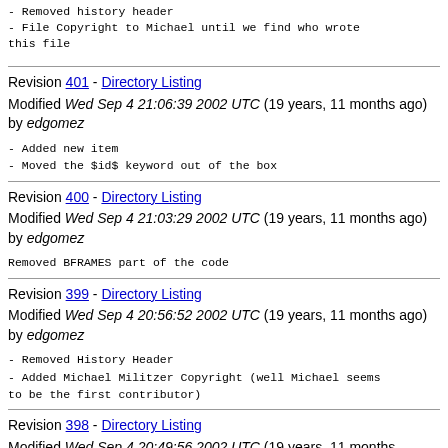- Removed history header
- File Copyright to Michael until we find who wrote this file
Revision 401 - Directory Listing
Modified Wed Sep 4 21:06:39 2002 UTC (19 years, 11 months ago) by edgomez
- Added new item
- Moved the $id$ keyword out of the box
Revision 400 - Directory Listing
Modified Wed Sep 4 21:03:29 2002 UTC (19 years, 11 months ago) by edgomez
Removed BFRAMES part of the code
Revision 399 - Directory Listing
Modified Wed Sep 4 20:56:52 2002 UTC (19 years, 11 months ago) by edgomez
- Removed History Header
- Added Michael Militzer Copyright (well Michael seems to be the first contributor)
Revision 398 - Directory Listing
Modified Wed Sep 4 20:49:56 2002 UTC (19 years, 11 months